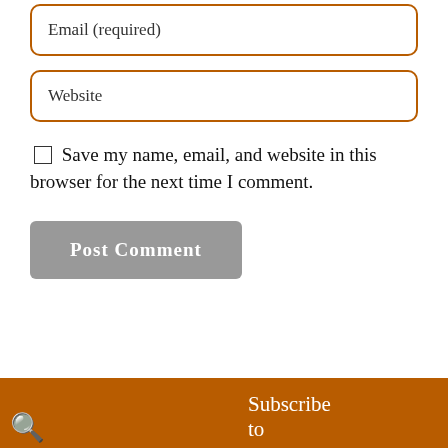Email (required)
Website
Save my name, email, and website in this browser for the next time I comment.
Post Comment
Subscribe to